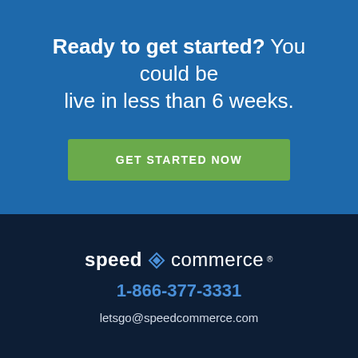Ready to get started? You could be live in less than 6 weeks.
GET STARTED NOW
[Figure (logo): Speed Commerce logo with diamond icon]
1-866-377-3331
letsgo@speedcommerce.com